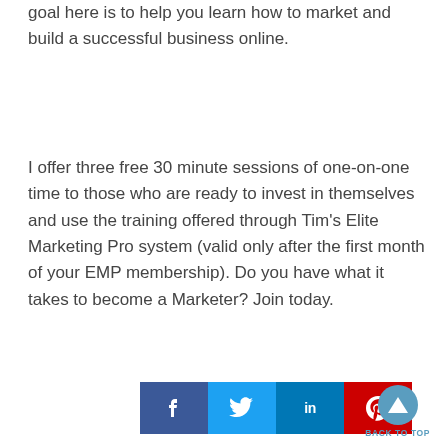goal here is to help you learn how to market and build a successful business online.
I offer three free 30 minute sessions of one-on-one time to those who are ready to invest in themselves and use the training offered through Tim's Elite Marketing Pro system (valid only after the first month of your EMP membership). Do you have what it takes to become a Marketer? Join today.
[Figure (infographic): Social share buttons row: Facebook (dark blue), Twitter (light blue), LinkedIn (blue), Pinterest (red), followed by a Back to Top button with upward triangle icon]